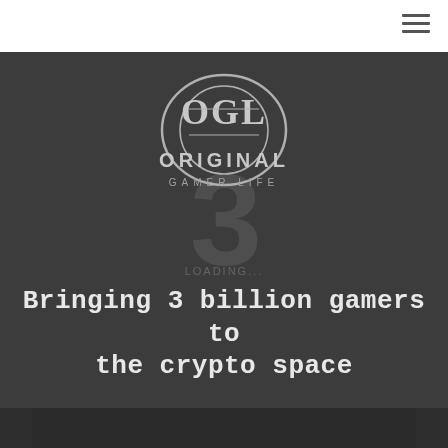[Figure (logo): OGL Original Gamer Life logo — circular emblem with letters OGL and text ORIGINAL GAMER LIFE below, shown in light gray/white on dark background]
Bringing 3 billion gamers to the crypto space